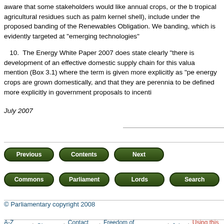aware that some stakeholders would like annual crops, or the b tropical agricultural residues such as palm kernel shell), include under the proposed banding of the Renewables Obligation. We banding, which is evidently targeted at "emerging technologies"
10.  The Energy White Paper 2007 does state clearly "there is development of an effective domestic supply chain for this valua mention (Box 3.1) where the term is given more explicitly as "pe energy crops are grown domestically, and that they are perennia to be defined more explicitly in government proposals to incenti
July 2007
[Figure (other): Navigation buttons: Previous, Contents, Next]
[Figure (other): Navigation buttons: Commons, Parliament, Lords, Search, E...]
© Parliamentary copyright 2008
A-Z index | Glossary | Contact us | Freedom of Information | Jobs | Using this w